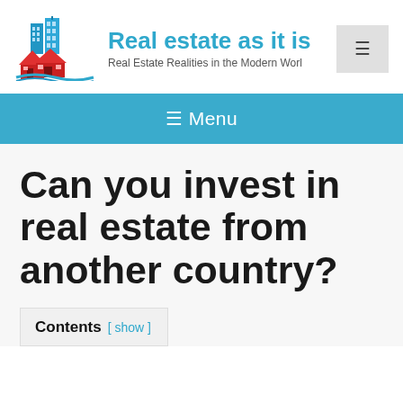[Figure (logo): Real estate logo with blue buildings and red houses]
Real estate as it is
Real Estate Realities in the Modern World
Can you invest in real estate from another country?
Contents [ show ]